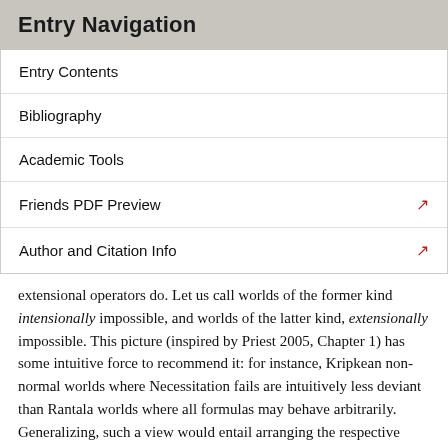Entry Navigation
Entry Contents
Bibliography
Academic Tools
Friends PDF Preview
Author and Citation Info
extensional operators do. Let us call worlds of the former kind intensionally impossible, and worlds of the latter kind, extensionally impossible. This picture (inspired by Priest 2005, Chapter 1) has some intuitive force to recommend it: for instance, Kripkean non-normal worlds where Necessitation fails are intuitively less deviant than Rantala worlds where all formulas may behave arbitrarily. Generalizing, such a view would entail arranging the respective spheres in such a way that any intensionally impossible world is closer to @ than any extensionally impossible one.